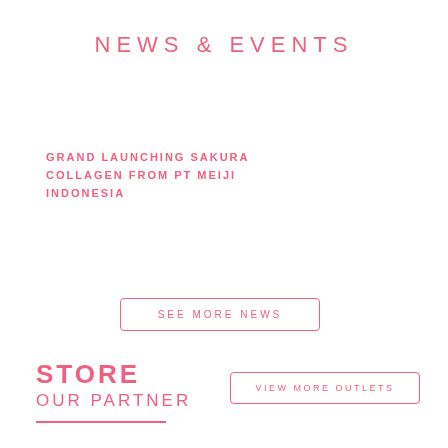NEWS & EVENTS
GRAND LAUNCHING SAKURA
COLLAGEN FROM PT MEIJI
INDONESIA
SEE MORE NEWS
STORE
OUR PARTNER
VIEW MORE OUTLETS